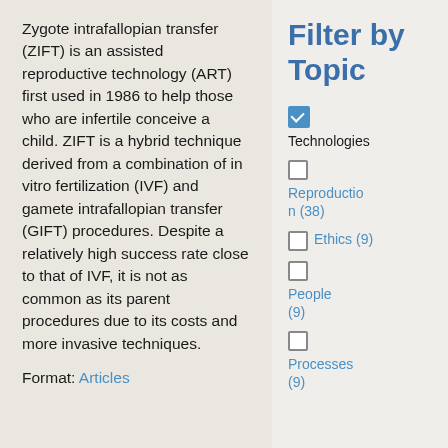Zygote intrafallopian transfer (ZIFT) is an assisted reproductive technology (ART) first used in 1986 to help those who are infertile conceive a child. ZIFT is a hybrid technique derived from a combination of in vitro fertilization (IVF) and gamete intrafallopian transfer (GIFT) procedures. Despite a relatively high success rate close to that of IVF, it is not as common as its parent procedures due to its costs and more invasive techniques.
Format: Articles
Filter by Topic
Technologies (checked)
Reproduction (38)
Ethics (9)
People (9)
Processes (9)